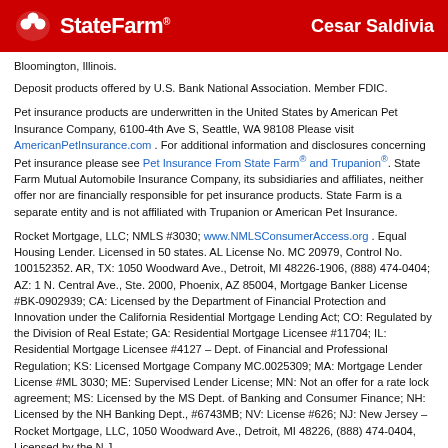State Farm | Cesar Saldivia
Bloomington, Illinois.
Deposit products offered by U.S. Bank National Association. Member FDIC.
Pet insurance products are underwritten in the United States by American Pet Insurance Company, 6100-4th Ave S, Seattle, WA 98108 Please visit AmericanPetInsurance.com . For additional information and disclosures concerning Pet insurance please see Pet Insurance From State Farm® and Trupanion®. State Farm Mutual Automobile Insurance Company, its subsidiaries and affiliates, neither offer nor are financially responsible for pet insurance products. State Farm is a separate entity and is not affiliated with Trupanion or American Pet Insurance.
Rocket Mortgage, LLC; NMLS #3030; www.NMLSConsumerAccess.org . Equal Housing Lender. Licensed in 50 states. AL License No. MC 20979, Control No. 100152352. AR, TX: 1050 Woodward Ave., Detroit, MI 48226-1906, (888) 474-0404; AZ: 1 N. Central Ave., Ste. 2000, Phoenix, AZ 85004, Mortgage Banker License #BK-0902939; CA: Licensed by the Department of Financial Protection and Innovation under the California Residential Mortgage Lending Act; CO: Regulated by the Division of Real Estate; GA: Residential Mortgage Licensee #11704; IL: Residential Mortgage Licensee #4127 – Dept. of Financial and Professional Regulation; KS: Licensed Mortgage Company MC.0025309; MA: Mortgage Lender License #ML 3030; ME: Supervised Lender License; MN: Not an offer for a rate lock agreement; MS: Licensed by the MS Dept. of Banking and Consumer Finance; NH: Licensed by the NH Banking Dept., #6743MB; NV: License #626; NJ: New Jersey – Rocket Mortgage, LLC, 1050 Woodward Ave., Detroit, MI 48226, (888) 474-0404, Licensed by the N.J.